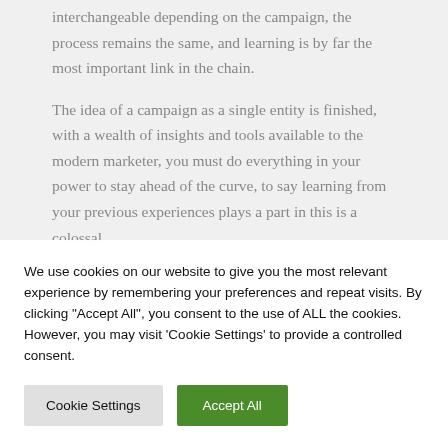interchangeable depending on the campaign, the process remains the same, and learning is by far the most important link in the chain.
The idea of a campaign as a single entity is finished, with a wealth of insights and tools available to the modern marketer, you must do everything in your power to stay ahead of the curve, to say learning from your previous experiences plays a part in this is a colossal
We use cookies on our website to give you the most relevant experience by remembering your preferences and repeat visits. By clicking "Accept All", you consent to the use of ALL the cookies. However, you may visit 'Cookie Settings' to provide a controlled consent.